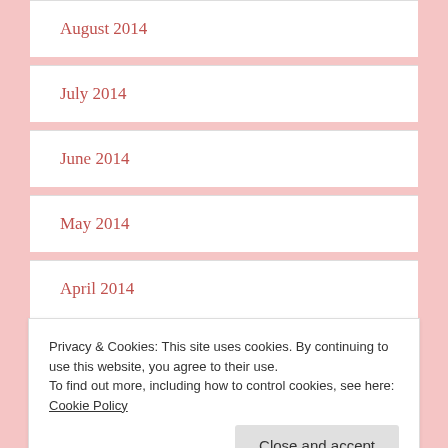August 2014
July 2014
June 2014
May 2014
April 2014
- CATEGORIES -
Privacy & Cookies: This site uses cookies. By continuing to use this website, you agree to their use.
To find out more, including how to control cookies, see here: Cookie Policy
Adult Life